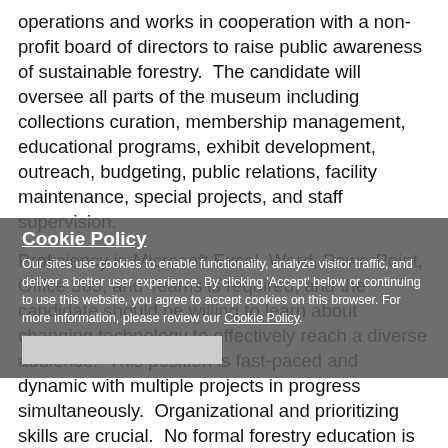operations and works in cooperation with a non-profit board of directors to raise public awareness of sustainable forestry.  The candidate will oversee all parts of the museum including collections curation, membership management, educational programs, exhibit development, outreach, budgeting, public relations, facility maintenance, special projects, and staff supervision.
Proficiency in Microsoft Excel, Word, PowerPoint, Office 365, and Teams is required, and the candidate should be willing to learn about changing technology to effectively reach a diverse audience.  This position is fast-paced and dynamic with multiple projects in progress simultaneously.  Organizational and prioritizing skills are crucial.  No formal forestry education is required.  Work is performed inside the museum with occasional outdoor educational tours and events.
Cookie Policy
Our sites use cookies to enable functionality, analyze visitor traffic, and deliver a better user experience. By clicking 'Accept' below or continuing to use this website, you agree to accept cookies on this browser. For more information, please review our Cookie Policy.
The position requires working primarily Monday-Friday with some weekend work during events.  In-state travel requirements are minimal and per diem for out-of-